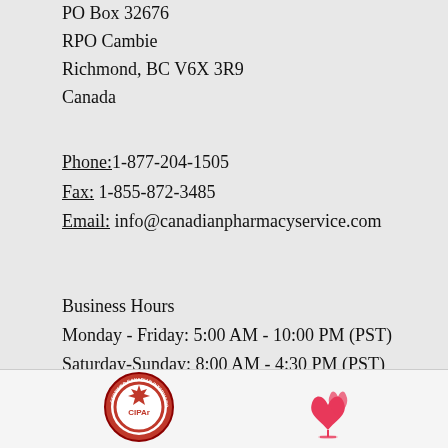PO Box 32676
RPO Cambie
Richmond, BC V6X 3R9
Canada
Phone: 1-877-204-1505
Fax: 1-855-872-3485
Email: info@canadianpharmacyservice.com
Business Hours
Monday - Friday: 5:00 AM - 10:00 PM (PST)
Saturday-Sunday: 8:00 AM - 4:30 PM (PST)
[Figure (logo): CIPA Certified Canadian International Pharmacy Association badge/seal]
[Figure (logo): Red maple leaf / plant logo]